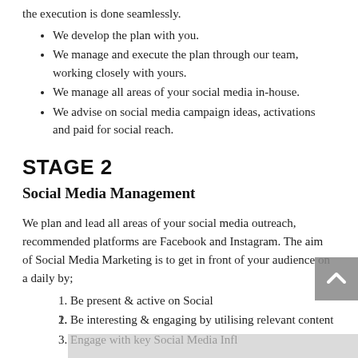the execution is done seamlessly.
We develop the plan with you.
We manage and execute the plan through our team, working closely with yours.
We manage all areas of your social media in-house.
We advise on social media campaign ideas, activations and paid for social reach.
STAGE 2
Social Media Management
We plan and lead all areas of your social media outreach, recommended platforms are Facebook and Instagram. The aim of Social Media Marketing is to get in front of your audience on a daily by;
Be present & active on Social
Be interesting & engaging by utilising relevant content
Engage with key Social Media Infl...